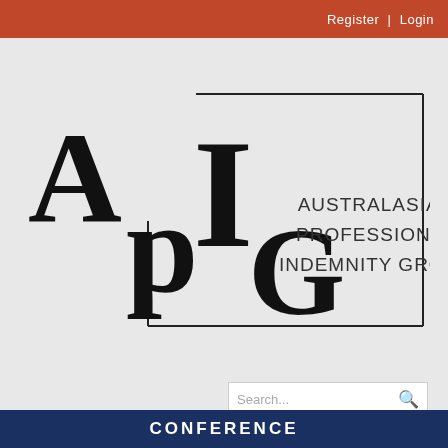Register | Login
[Figure (logo): APIG – Australasian Professional Indemnity Group logo with large stylized letters A, P, I, G and full name text inside a rectangular border]
Search...
[Figure (other): Hamburger menu button (three horizontal white lines on orange/rust background)]
[Figure (other): Scroll-to-top arrow button on grey background]
CONFERENCE